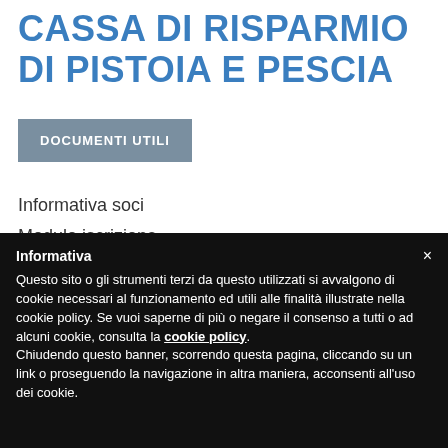CASSA DI RISPARMIO DI PISTOIA E PESCIA
DOCUMENTI UTILI
Informativa soci
Modulo iscrizione
Informativa
Questo sito o gli strumenti terzi da questo utilizzati si avvalgono di cookie necessari al funzionamento ed utili alle finalità illustrate nella cookie policy. Se vuoi saperne di più o negare il consenso a tutti o ad alcuni cookie, consulta la cookie policy. Chiudendo questo banner, scorrendo questa pagina, cliccando su un link o proseguendo la navigazione in altra maniera, acconsenti all'uso dei cookie.